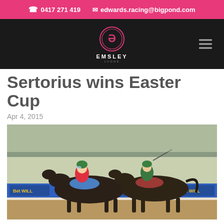0417 271 419   edwards.racing@bigpond.com
[Figure (logo): Emsley Lodge logo — circular logo with stylized E, text EMSLEY LODGE below, on black navigation bar with hamburger menu icon on right]
Sertorius wins Easter Cup
Apr 4, 2015
[Figure (photo): Horse race photo showing two jockeys in green helmets racing neck and neck on dark horses, with blue advertising boards in background]